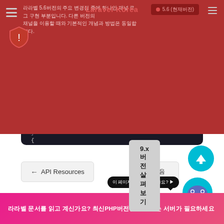라라벨 5.6버전의 주요 변경점 중에 하나인 채널 로그 구현 부분입니다. 다른 버전의 채널을 이용할 때와 기본적인 개념과 방법은 동일합니다.
[Figure (screenshot): Laravel Korea website header with navigation and version badge showing 5.6 (현재버전)]
9.x버전 살펴보기
[Figure (screenshot): Dark code block showing PHP code: /**
 * Register bindings in the container.
 *
 * @return void
 */
public function register()
{
    //
}]
← API Resources
다음 페이지
이 페이지가 도움이 됐나요?
라라벨 문서를 읽고 계신가요? 최신PHP버전을 지원하는 서버가 필요하세요